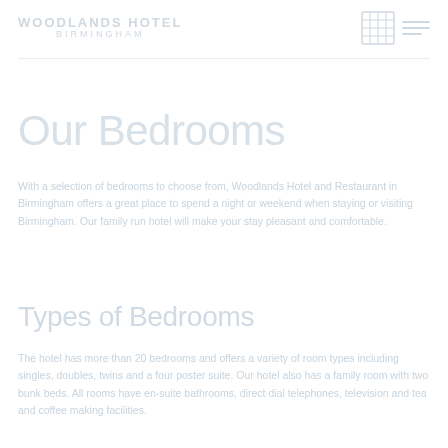WOODLANDS HOTEL BIRMINGHAM
Our Bedrooms
With a selection of bedrooms to choose from, Woodlands Hotel and Restaurant in Birmingham offers a great place to spend a night or weekend when staying or visiting Birmingham. Our family run hotel will make your stay pleasant and comfortable.
Types of Bedrooms
The hotel has more than 20 bedrooms and offers a variety of room types including singles, doubles, twins and a four poster suite. Our hotel also has a family room with two bunk beds. All rooms have en-suite bathrooms, direct dial telephones, television and tea and coffee making facilities.